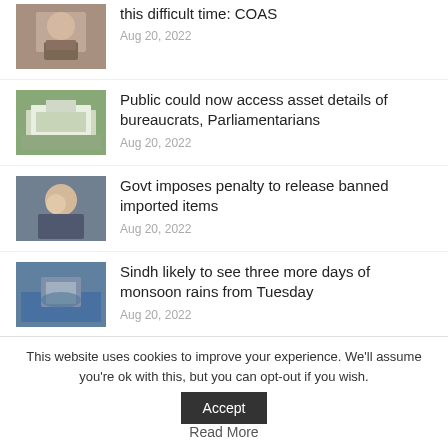[Figure (photo): Thumbnail of a military officer in uniform]
this difficult time: COAS
Aug 20, 2022
[Figure (photo): Thumbnail of a government building]
Public could now access asset details of bureaucrats, Parliamentarians
Aug 20, 2022
[Figure (photo): Thumbnail of a smiling man in a suit]
Govt imposes penalty to release banned imported items
Aug 20, 2022
[Figure (photo): Thumbnail of flood scene with submerged vehicle]
Sindh likely to see three more days of monsoon rains from Tuesday
Aug 20, 2022
[Figure (photo): Thumbnail of group of politicians]
CM arrives at the residence of industrialist Adnan Sethi
This website uses cookies to improve your experience. We'll assume you're ok with this, but you can opt-out if you wish.
Read More